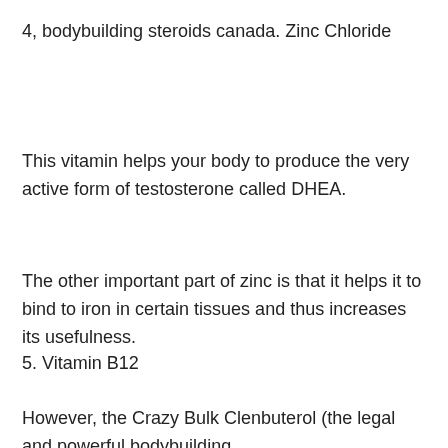4, bodybuilding steroids canada. Zinc Chloride
This vitamin helps your body to produce the very active form of testosterone called DHEA.
The other important part of zinc is that it helps it to bind to iron in certain tissues and thus increases its usefulness.
5. Vitamin B12
However, the Crazy Bulk Clenbuterol (the legal and powerful bodybuilding